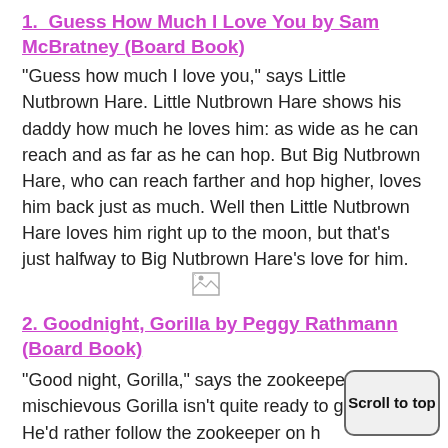1.  Guess How Much I Love You by Sam McBratney (Board Book)
"Guess how much I love you," says Little Nutbrown Hare. Little Nutbrown Hare shows his daddy how much he loves him: as wide as he can reach and as far as he can hop. But Big Nutbrown Hare, who can reach farther and hop higher, loves him back just as much. Well then Little Nutbrown Hare loves him right up to the moon, but that's just halfway to Big Nutbrown Hare's love for him.
[Figure (other): Broken image placeholder icon]
2. Goodnight, Gorilla by Peggy Rathmann (Board Book)
"Good night, Gorilla," says the zookeeper. But mischievous Gorilla isn't quite ready to go to sleep. He'd rather follow the zookeeper on h...